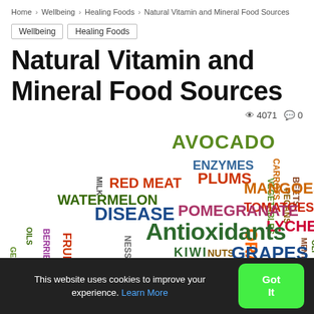Home › Wellbeing › Healing Foods › Natural Vitamin and Mineral Food Sources
Wellbeing
Healing Foods
Natural Vitamin and Mineral Food Sources
👁 4071  💬 0
[Figure (infographic): Word cloud featuring food and nutrition terms including: Antioxidants, POMEGRANATE, DISEASE, WATERMELON, AVOCADO, MANGOES, TOMATOES, LYCHEE, ORANGES, PLUMS, ENZYMES, RED MEAT, GRAPES, NUTS, KIWI, BEETS, PECANS, CARROTS, VEGETABLES, BERRIES, FRUITS, OILS, MILK]
This website uses cookies to improve your experience. Learn More